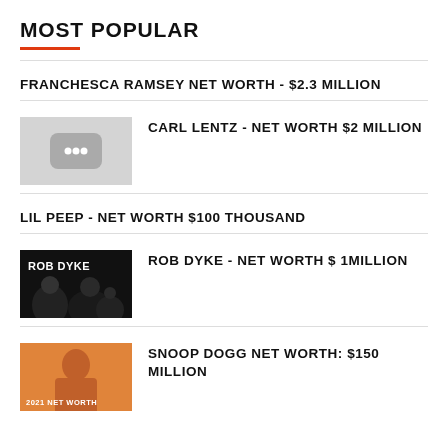MOST POPULAR
FRANCHESCA RAMSEY NET WORTH - $2.3 MILLION
CARL LENTZ - NET WORTH $2 MILLION
LIL PEEP - NET WORTH $100 THOUSAND
ROB DYKE - NET WORTH $ 1MILLION
SNOOP DOGG NET WORTH: $150 MILLION